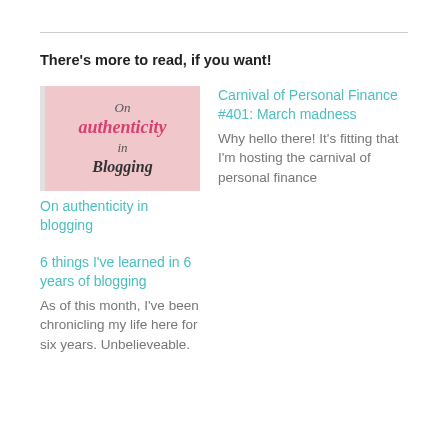There's more to read, if you want!
[Figure (photo): Blog post thumbnail showing text 'On authenticity in blogging' with pink/red stylized script font on a light background]
On authenticity in blogging
Carnival of Personal Finance #401: March madness
Why hello there! It's fitting that I'm hosting the carnival of personal finance
6 things I've learned in 6 years of blogging
As of this month, I've been chronicling my life here for six years. Unbelieveable.